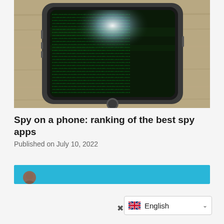[Figure (photo): Smartphone lying flat on a wooden surface, screen displaying green Matrix-style code/binary text with a bright light reflection at the top center of the screen. Phone has dark metal frame.]
Spy on a phone: ranking of the best spy apps
Published on July 10, 2022
[Figure (photo): Author profile bar with cyan/turquoise background, partially visible author avatar photo at bottom left.]